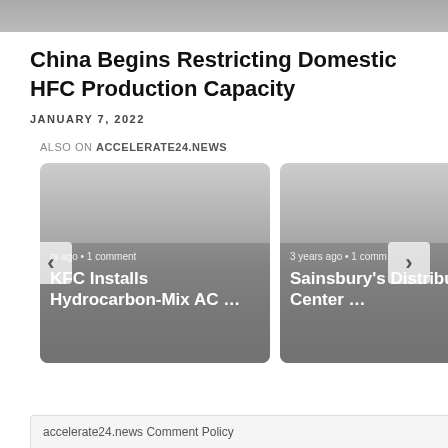[Figure (photo): Top partial image strip, gray/dark tones]
China Begins Restricting Domestic HFC Production Capacity
JANUARY 7, 2022
ALSO ON ACCELERATE24.NEWS
[Figure (other): Card carousel with two article cards. Left card: 'rs ago • 1 comment' / 'KFC Installs Hydrocarbon-Mix AC …'. Right card: '3 years ago • 1 comm' / 'Sainsbury's Distribution Center …'. Left nav arrow and right nav arrow visible.]
accelerate24.news Comment Policy